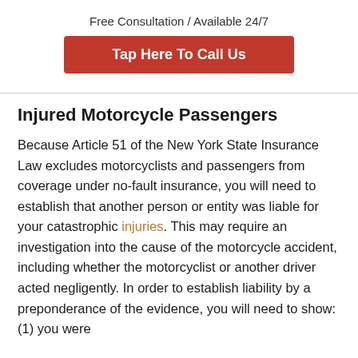Free Consultation / Available 24/7
Tap Here To Call Us
Injured Motorcycle Passengers
Because Article 51 of the New York State Insurance Law excludes motorcyclists and passengers from coverage under no-fault insurance, you will need to establish that another person or entity was liable for your catastrophic injuries. This may require an investigation into the cause of the motorcycle accident, including whether the motorcyclist or another driver acted negligently. In order to establish liability by a preponderance of the evidence, you will need to show: (1) you were